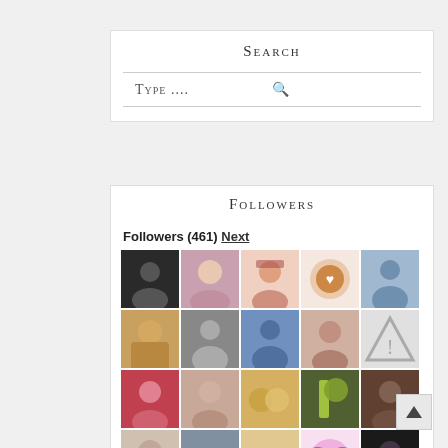Search
Type ....
Followers
Followers (461) Next
[Figure (photo): Grid of 21 follower avatar thumbnails arranged in 5 rows of 5 and one partial row]
[Figure (other): Scroll-to-top arrow button in bottom right]